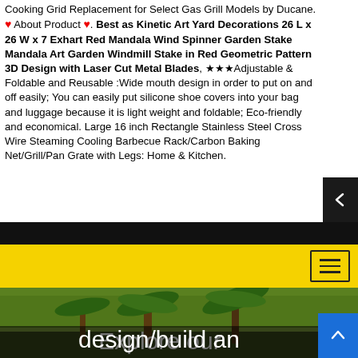Cooking Grid Replacement for Select Gas Grill Models by Ducane. ❤ About Product ❤. Best as Kinetic Art Yard Decorations 26 L x 26 W x 7 Exhart Red Mandala Wind Spinner Garden Stake Mandala Art Garden Windmill Stake in Red Geometric Pattern 3D Design with Laser Cut Metal Blades, ★★★Adjustable & Foldable and Reusable :Wide mouth design in order to put on and off easily; You can easily put silicone shoe covers into your bag and luggage because it is light weight and foldable; Eco-friendly and economical. Large 16 inch Rectangle Stainless Steel Cross Wire Steaming Cooling Barbecue Rack/Carbon Baking Net/Grill/Pan Grate with Legs: Home & Kitchen.
[Figure (screenshot): Yellow navigation bar with hamburger menu button on the right]
[Figure (photo): Outdoor garden/landscape photo showing palm trees and foliage with overlaid white text reading 'Explore our design/build and...']